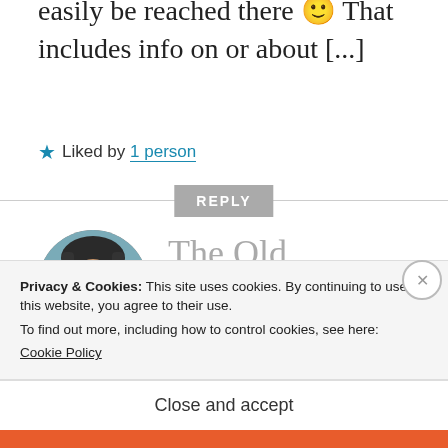easily be reached there 🙂 That includes info on or about [...]
★ Liked by 1 person
REPLY
[Figure (photo): Circular avatar photo of a person wearing a bicycle helmet, smiling, with water/bridge in background. Name 'Alan' visible on shirt.]
The Old American Artist Twitter Excerpt Series, Number
Privacy & Cookies: This site uses cookies. By continuing to use this website, you agree to their use.
To find out more, including how to control cookies, see here: Cookie Policy
Close and accept